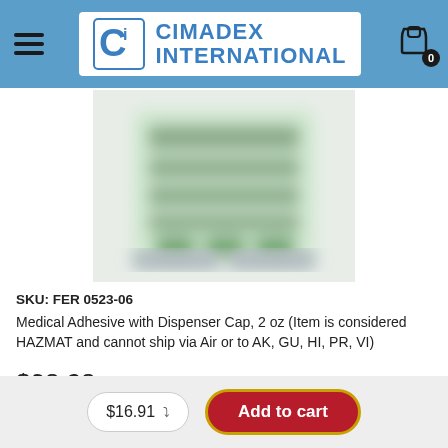CIMADEX INTERNATIONAL
[Figure (photo): Blurred product image of a medical adhesive bottle with dispenser cap, label text is not clearly legible]
SKU: FER 0523-06
Medical Adhesive with Dispenser Cap, 2 oz (Item is considered HAZMAT and cannot ship via Air or to AK, GU, HI, PR, VI)
$38.28
$16.91
Add to cart